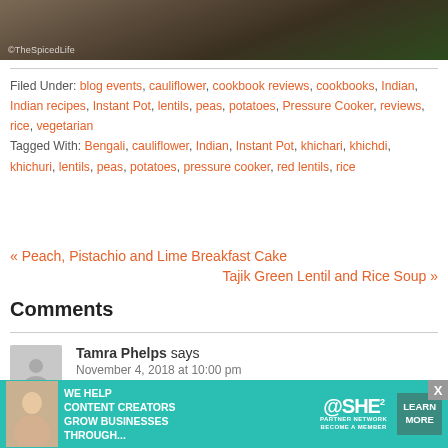[Figure (photo): Partial photo with green border, watermark reading ©TheSpicedLife in bottom left corner]
Filed Under: blog events, cauliflower, cookbook reviews, cookbooks, Indian, Indian recipes, Instant Pot, lentils, peas, potatoes, Pressure Cooker, reviews, rice, vegetarian Tagged With: Bengali, cauliflower, Indian, Instant Pot, khichari, khichdi, khichuri, lentils, peas, potatoes, pressure cooker, red lentils, rice
« Peach, Pistachio and Lime Breakfast Cake
Tajik Green Lentil and Rice Soup »
Comments
Tamra Phelps says
November 4, 2018 at 10:00 pm
[Figure (infographic): Advertisement banner: teal background, woman with laptop, text WE HELP CONTENT CREATORS GROW BUSINESSES THROUGH..., SHE PARTNER NETWORK BECOME A MEMBER logo, LEARN MORE button]